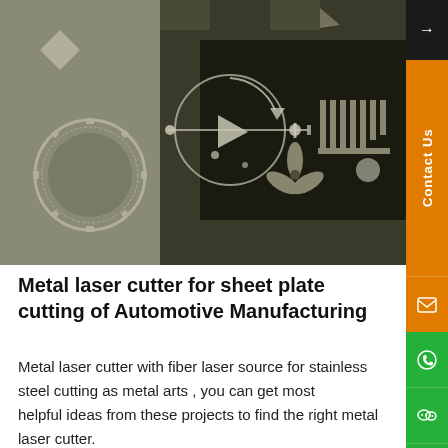[Figure (photo): Metal laser cut sheet showing various mechanical shapes including gears, arrows, and other industrial patterns against a dark metallic background. A video play button circle overlay is visible in the center.]
Metal laser cutter for sheet plate cutting of Automotive Manufacturing
Metal laser cutter with fiber laser source for stainless steel cutting as metal arts , you can get most helpful ideas from these projects to find the right metal laser cutter.